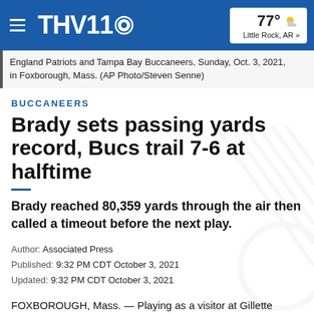THV11 | 77° Little Rock, AR »
England Patriots and Tampa Bay Buccaneers, Sunday, Oct. 3, 2021, in Foxborough, Mass. (AP Photo/Steven Senne)
BUCCANEERS
Brady sets passing yards record, Bucs trail 7-6 at halftime
Brady reached 80,359 yards through the air then called a timeout before the next play.
Author: Associated Press
Published: 9:32 PM CDT October 3, 2021
Updated: 9:32 PM CDT October 3, 2021
FOXBOROUGH, Mass. — Playing as a visitor at Gillette Stadium wasn't the only big change for Tom Brady on